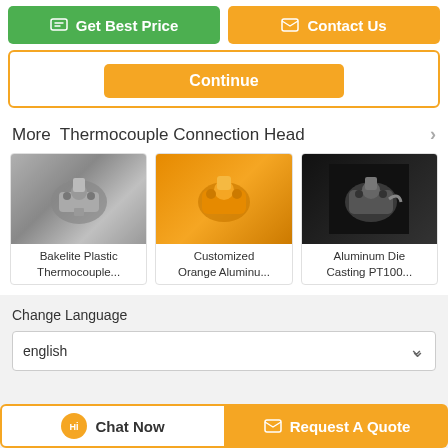[Figure (screenshot): Get Best Price green button and Contact Us orange button at top of page]
[Figure (screenshot): Continue orange button inside orange-bordered box]
More  Thermocouple Connection Head
[Figure (photo): Bakelite Plastic Thermocouple connection head - metallic gray colored hardware]
Bakelite Plastic Thermocouple...
[Figure (photo): Customized Orange Aluminum thermocouple connection head - bright orange colored hardware]
Customized Orange Aluminu...
[Figure (photo): Aluminum Die Casting PT100 thermocouple connection head - gray metallic hardware on black background]
Aluminum Die Casting PT100...
Change Language
english
Home | About Us | Contact Us
[Figure (screenshot): Chat Now button (white with orange border) and Request A Quote button (orange) at bottom]